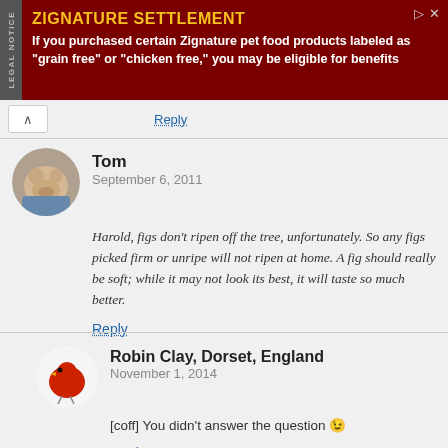[Figure (infographic): Advertisement banner for Zignature Settlement legal notice. Dark red background with yellow title text 'ZIGNATURE SETTLEMENT' and white body text about pet food products.]
Reply
Tom
September 6, 2011
Harold, figs don't ripen off the tree, unfortunately. So any figs picked firm or unripe will not ripen at home. A fig should really be soft; while it may not look its best, it will taste so much better.
Reply
Robin Clay, Dorset, England
November 1, 2014
[coff] You didn't answer the question 😉
Reply
Robin Clay, Dorset, England